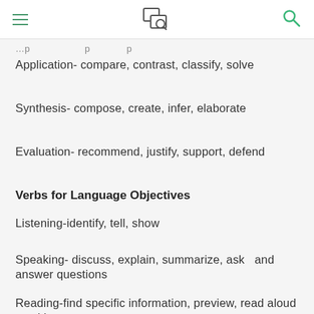…p…p…p…
Application- compare, contrast, classify, solve
Synthesis- compose, create, infer, elaborate
Evaluation- recommend, justify, support, defend
Verbs for Language Objectives
Listening-identify, tell, show
Speaking- discuss, explain, summarize, ask   and answer questions
Reading-find specific information, preview, read aloud or with a partner